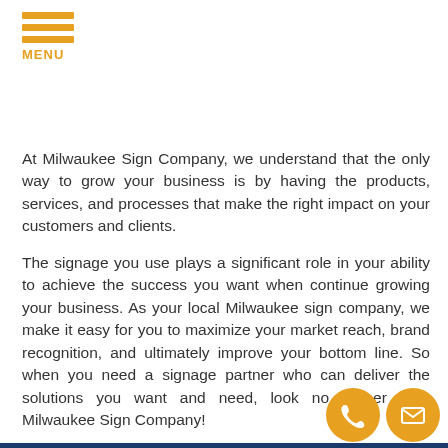[Figure (logo): Orange hamburger menu icon with three horizontal lines and MENU text in orange below]
At Milwaukee Sign Company, we understand that the only way to grow your business is by having the products, services, and processes that make the right impact on your customers and clients.
The signage you use plays a significant role in your ability to achieve the success you want when continue growing your business. As your local Milwaukee sign company, we make it easy for you to maximize your market reach, brand recognition, and ultimately improve your bottom line. So when you need a signage partner who can deliver the solutions you want and need, look no further than Milwaukee Sign Company!
Contact Milwaukee Sign Company today at (414) 206-6734 for your Free Consultation with a Signs & Graphics expert!
[Figure (illustration): Two orange circular icons at bottom right: a phone handset icon and an envelope/mail icon]